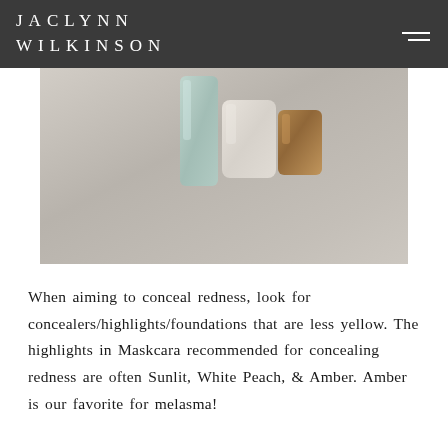JACLYNN WILKINSON
[Figure (photo): Close-up photo of makeup/cosmetic products (concealers or highlights) on a light gray textured surface, showing portions of three product containers]
When aiming to conceal redness, look for concealers/highlights/foundations that are less yellow. The highlights in Maskcara recommended for concealing redness are often Sunlit, White Peach, & Amber. Amber is our favorite for melasma!